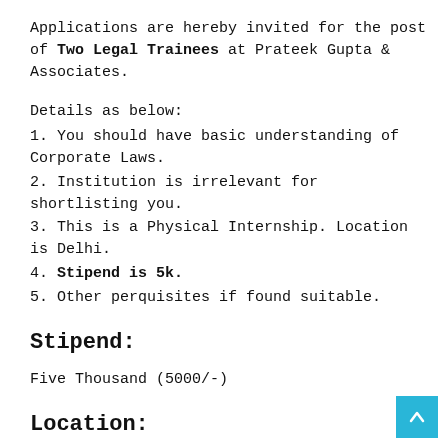Applications are hereby invited for the post of Two Legal Trainees at Prateek Gupta & Associates.
Details as below:
1. You should have basic understanding of Corporate Laws.
2. Institution is irrelevant for shortlisting you.
3. This is a Physical Internship. Location is Delhi.
4. Stipend is 5k.
5. Other perquisites if found suitable.
Stipend:
Five Thousand (5000/-)
Location: